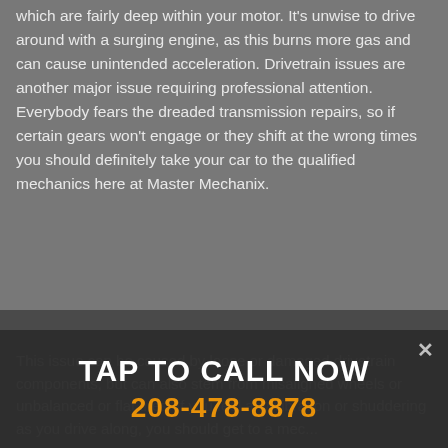which are fairly deep within your motor. It's unwise to drive around with a surging engine, as this burns more gas and can cause unintended acceleration. Drivetrain issues are another major issue requiring professional attention. Everybody fears the dreaded transmission repairs, so if certain gears won't engage or they shift at the wrong times you should definitely take your car to the qualified mechanics here at Master Mechanix.
Vibration While Driving
This issue can be caused by loose or damaged drivetrain components, but can also stem from misaligned wheels or unbalanced or flat tires. If you feel any vibration or shuddering as you drive along, you should get to a mec...
TAP TO CALL NOW
208-478-8878